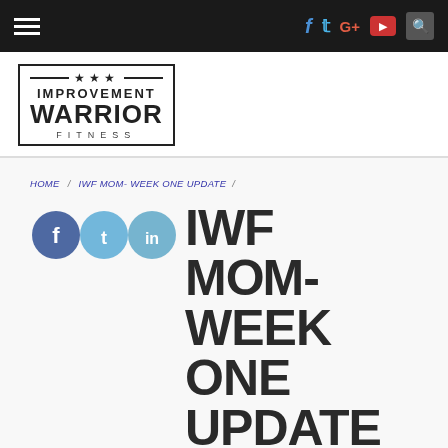Improvement Warrior Fitness - navigation bar with social icons
[Figure (logo): Improvement Warrior Fitness logo with stars, bordered box, bold text]
HOME / IWF MOM- WEEK ONE UPDATE /
IWF MOM- WEEK ONE UPDATE
ARTICLE  October 24, 2014